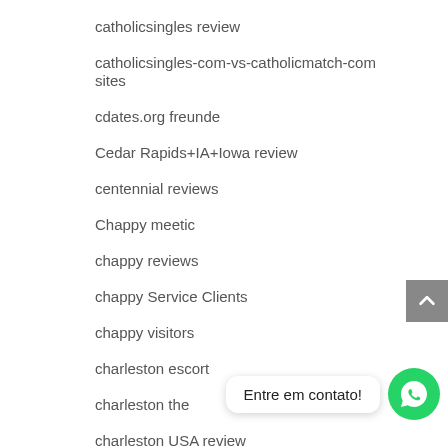catholicsingles review
catholicsingles-com-vs-catholicmatch-com sites
cdates.org freunde
Cedar Rapids+IA+Iowa review
centennial reviews
Chappy meetic
chappy reviews
chappy Service Clients
chappy visitors
charleston escort
charleston the
charleston USA review
Entre em contato!